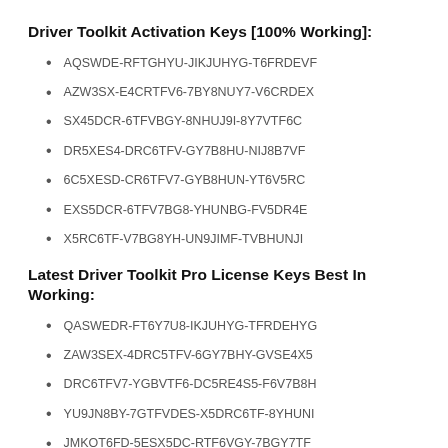Driver Toolkit Activation Keys [100% Working]:
AQSWDE-RFTGHYU-JIKJUHYG-T6FRDEVF
AZW3SX-E4CRTFV6-7BY8NUY7-V6CRDEX
SX45DCR-6TFVBGY-8NHUJ9I-8Y7VTF6C
DR5XES4-DRC6TFV-GY7B8HU-NIJ8B7VF
6C5XESD-CR6TFV7-GYB8HUN-YT6V5RC
EXS5DCR-6TFV7BG8-YHUNBG-FV5DR4E
X5RC6TF-V7BG8YH-UN9JIMF-TVBHUNJI
Latest Driver Toolkit Pro License Keys Best In Working:
QASWEDR-FT6Y7U8-IKJUHYG-TFRDEHYG
ZAW3SEX-4DRC5TFV-6GY7BHY-GVSE4X5
DRC6TFV7-YGBVTF6-DC5RE4S5-F6V7B8H
YU9JN8BY-7GTFVDES-X5DRC6TF-8YHUNI
JMKOT6FD-5ESX5DC-RTF6VGY-7BGY7TF